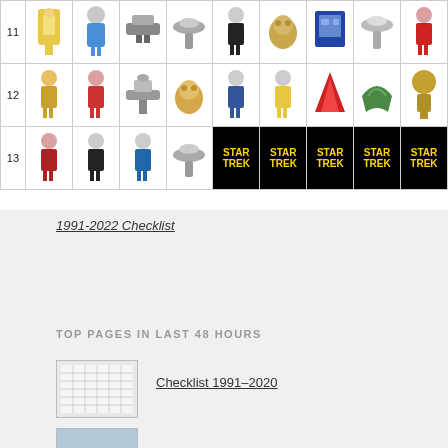[Figure (table-as-image): Grid of Star Trek figurine/ornament images arranged in rows numbered 11, 12, 13 with the bottom-right portion of row 13 showing 5 black Star Trek logo cells]
1991-2022 Checklist
TOP PAGES IN LAST 48 HOURS
[Figure (photo): Thumbnail of a checklist grid/table]
Checklist 1991-2020
[Figure (photo): Thumbnail of ornament]
Complete List of Ornaments by Year
[Figure (photo): Thumbnail of Star Trek transporter water globe figurine]
Star Trek Transporter Water Globe Coming in August
[Figure (photo): Thumbnail of Enterprise From Strange New Worlds]
Enterprise From Strange New Worlds Coming